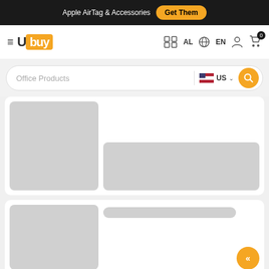Apple AirTag & Accessories  Get Them
[Figure (logo): Ubuy logo with hamburger menu, navigation icons for AL, EN language, user profile, and cart with 0 items]
Office Products  US
[Figure (screenshot): E-commerce product listing page skeleton loading state with two product cards showing gray placeholder boxes for images and content]